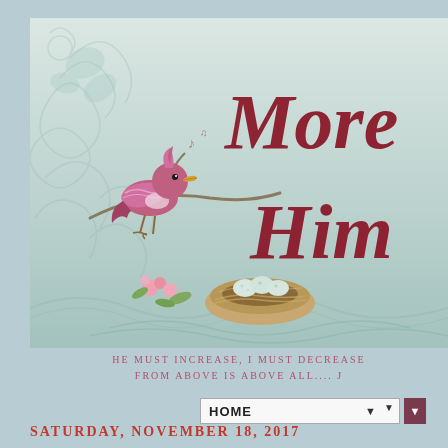[Figure (illustration): Blog header banner with vintage aesthetic: light teal/mint background with decorative scroll patterns, a pink/magenta bird perched on a branch singing, a bird's nest with eggs below, pink blossoms, and cursive script text reading 'More' and 'Him' in dark red/maroon on the right side]
HE MUST INCREASE, I MUST DECREASE FROM ABOVE IS ABOVE ALL.... J
HOME
SATURDAY, NOVEMBER 18, 2017